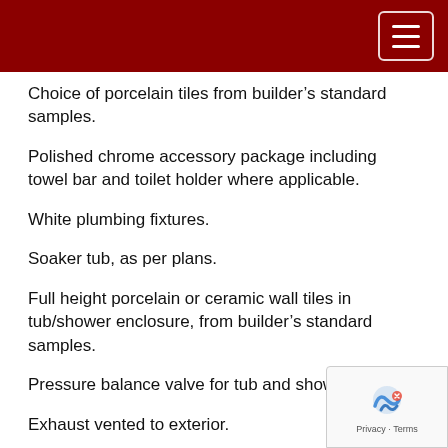Choice of porcelain tiles from builder's standard samples.
Polished chrome accessory package including towel bar and toilet holder where applicable.
White plumbing fixtures.
Soaker tub, as per plans.
Full height porcelain or ceramic wall tiles in tub/shower enclosure, from builder's standard samples.
Pressure balance valve for tub and shower.
Exhaust vented to exterior.